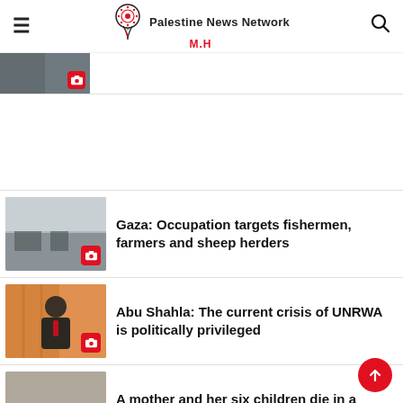Palestine News Network M.H
[Figure (photo): Partially visible news article thumbnail with camera icon badge]
[Figure (other): White advertisement or blank space block]
[Figure (photo): Photo of military/landscape scene near Gaza border]
Gaza: Occupation targets fishermen, farmers and sheep herders
[Figure (photo): Photo of man in suit speaking, Abu Shahla interview]
Abu Shahla: The current crisis of UNRWA is politically privileged
[Figure (photo): Photo of house fire scene in Mississippi]
A mother and her six children die in a home fire in Mississippi